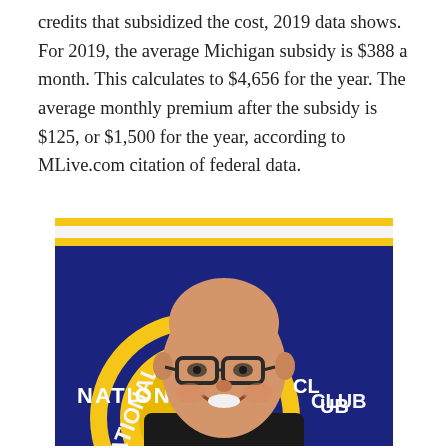credits that subsidized the cost, 2019 data shows. For 2019, the average Michigan subsidy is $388 a month. This calculates to $4,656 for the year. The average monthly premium after the subsidy is $125, or $1,500 for the year, according to MLive.com citation of federal data.
[Figure (photo): A smiling bald man wearing glasses and a dark shirt, photographed in front of a blue and yellow National Club banner/backdrop.]